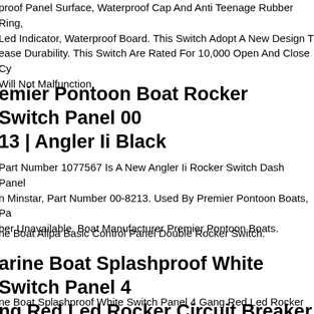proof Panel Surface, Waterproof Cap And Anti Teenage Rubber Ring, Led Indicator, Waterproof Board. This Switch Adopt A New Design To ease Durability. This Switch Are Rated For 10,000 Open And Close Cycles Will Not Malfunction.
emier Pontoon Boat Rocker Switch Panel 00-8213 | Angler Ii Black
Part Number 1077567 Is A New Angler Ii Rocker Switch Dash Panel From Minstar, Part Number 00-8213. Used By Premier Pontoon Boats, Part Number Unavailable. Boat Manufacturer Premier Pontoon Boats.
ne Boat Allpa Basic Control Panel Double Rocker Switch.
arine Boat Splashproof White Switch Panel 4 Gang Red Led Rocker Circuit Breaker
ne Boat Splashproof White Switch Panel 4 Gang Red Led Rocker Circuit Breaker Item Description This 4 Gang Splashproof White Switch Panel Is Made Of Uv Stabilised Plastic. Each Switch Comes With Led Indicator A...